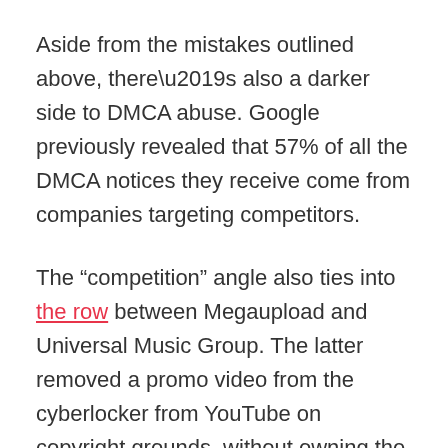Aside from the mistakes outlined above, there’s also a darker side to DMCA abuse. Google previously revealed that 57% of all the DMCA notices they receive come from companies targeting competitors.
The “competition” angle also ties into the row between Megaupload and Universal Music Group. The latter removed a promo video from the cyberlocker from YouTube on copyright grounds, without owning the rights to any of the material.
It’s safe to say that the DMCA is broadly abused. Thousands of automated notices with hundreds of